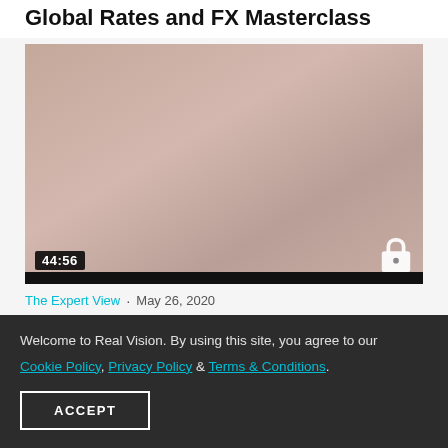Global Rates and FX Masterclass
[Figure (screenshot): Video thumbnail with pinkish-beige gradient background, showing duration 44:56 in bottom left and a lock icon in bottom right]
The Expert View · May 26, 2020
The New Normal for Global Industry
Welcome to Real Vision. By using this site, you agree to our Cookie Policy, Privacy Policy & Terms & Conditions.
ACCEPT